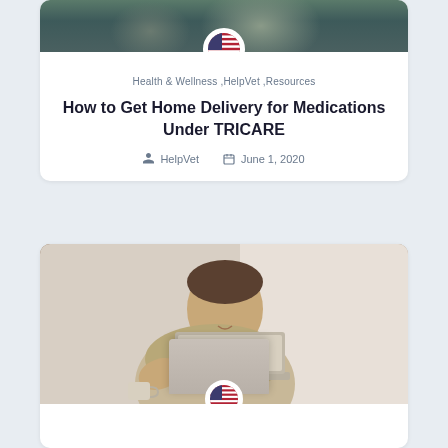[Figure (photo): Top portion of a blog card showing a photo of military/people with a US flag circle icon overlay at bottom center]
Health & Wellness ,HelpVet ,Resources
How to Get Home Delivery for Medications Under TRICARE
HelpVet   June 1, 2020
[Figure (photo): Second blog card showing a young man smiling while using a laptop, with a US flag circle icon overlay at bottom center]